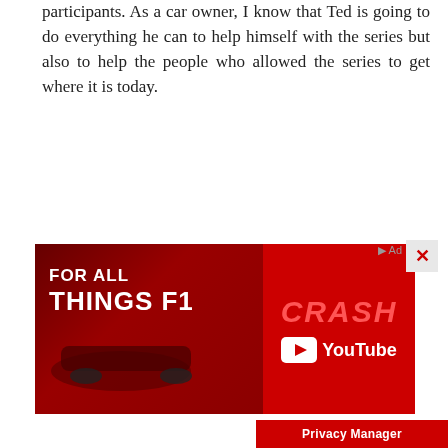participants. As a car owner, I know that Ted is going to do everything he can to help himself with the series but also to help the people who allowed the series to get where it is today.
Q:
How do you balance your time between your World of Outlaws program and your Winston Cup responsibilities?
TS:
There are seven or eight Outlaw races this year where we're going to be racing Cup at the same place at the same time. I'll do my job with The Home Depot Pon... during the day, but at night I'll be with the Outlaw te...
[Figure (advertisement): Red advertisement banner for 'FOR ALL THINGS F1' featuring 'CRASH' YouTube channel branding with a racing car image. Includes a Privacy Manager button and close button.]